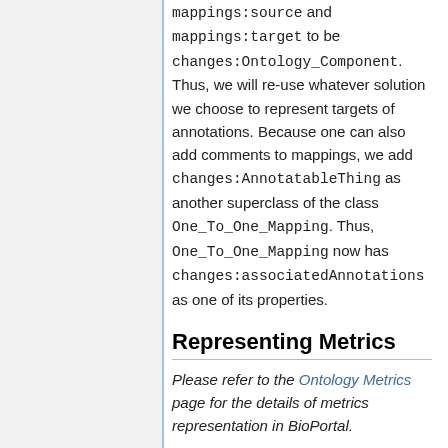mappings:source and mappings:target to be changes:Ontology_Component. Thus, we will re-use whatever solution we choose to represent targets of annotations. Because one can also add comments to mappings, we add changes:AnnotatableThing as another superclass of the class One_To_One_Mapping. Thus, One_To_One_Mapping now has changes:associatedAnnotations as one of its properties.
Representing Metrics
Please refer to the Ontology Metrics page for the details of metrics representation in BioPortal.
Representing U...